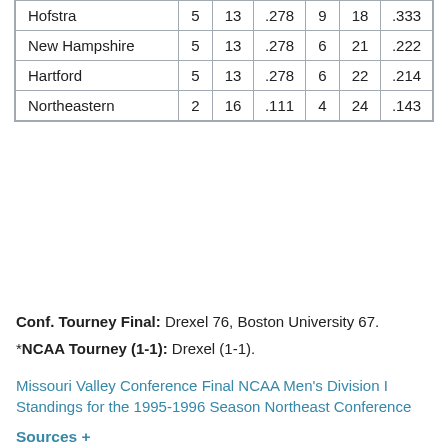| Hofstra | 5 | 13 | .278 | 9 | 18 | .333 |
| New Hampshire | 5 | 13 | .278 | 6 | 21 | .222 |
| Hartford | 5 | 13 | .278 | 6 | 22 | .214 |
| Northeastern | 2 | 16 | .111 | 4 | 24 | .143 |
Conf. Tourney Final: Drexel 76, Boston University 67.
*NCAA Tourney (1-1): Drexel (1-1).
Missouri Valley Conference Final NCAA Men's Division I Standings for the 1995-1996 Season Northeast Conference
Sources +
See also:
America East Conference